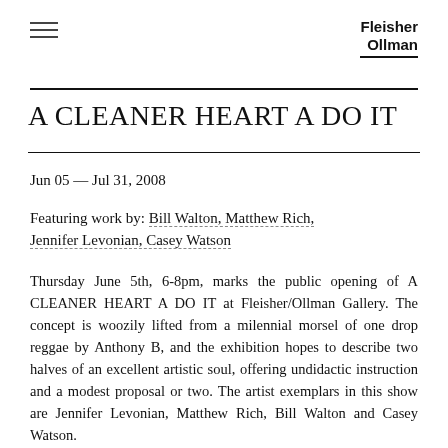Fleisher Ollman
A CLEANER HEART A DO IT
Jun 05 — Jul 31, 2008
Featuring work by: Bill Walton, Matthew Rich, Jennifer Levonian, Casey Watson
Thursday June 5th, 6-8pm, marks the public opening of A CLEANER HEART A DO IT at Fleisher/Ollman Gallery. The concept is woozily lifted from a milennial morsel of one drop reggae by Anthony B, and the exhibition hopes to describe two halves of an excellent artistic soul, offering undidactic instruction and a modest proposal or two. The artist exemplars in this show are Jennifer Levonian, Matthew Rich, Bill Walton and Casey Watson.
The 'clean heart' is the stability and clarity of